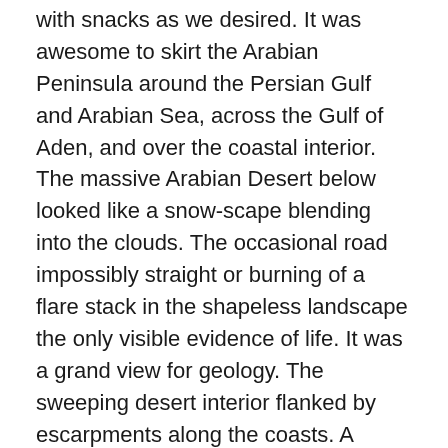with snacks as we desired. It was awesome to skirt the Arabian Peninsula around the Persian Gulf and Arabian Sea, across the Gulf of Aden, and over the coastal interior. The massive Arabian Desert below looked like a snow-scape blending into the clouds. The occasional road impossibly straight or burning of a flare stack in the shapeless landscape the only visible evidence of life. It was a grand view for geology. The sweeping desert interior flanked by escarpments along the coasts. A broad mountain-studded plateau revealing black lava beds of long extinct volcanoes, and the many narrow valleys, called wadis, piercing down along its sides. A long narrow coastal plain, betraying its sedimentary deposition in ancient seas. It was beautiful.
Flying into JRO we could see the rising figure of Mount Meru, Kilimanjaro being on the opposite side of the plane.